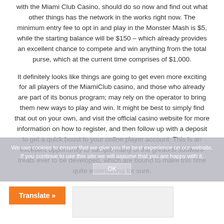with the Miami Club Casino, should do so now and find out what other things has the network in the works right now. The minimum entry fee to opt in and play in the Monster Mash is $5, while the starting balance will be $150 – which already provides an excellent chance to compete and win anything from the total purse, which at the current time comprises of $1,000.
It definitely looks like things are going to get even more exciting for all players of the MiamiClub casino, and those who already are part of its bonus program; may rely on the operator to bring them new ways to play and win. It might be best to simply find that out on your own, and visit the official casino website for more information on how to register, and then follow up with a deposit to get a quick boost to your online player account. This is an excellent opportunity to sample many of the greatest software treats ever to be developed, which are bound to make this time quite entertaining for sure.
We use cookies to ensure that we give you the best experience on our website. If you continue to use this site we will assume that you are happy with it.
OK
Translate »